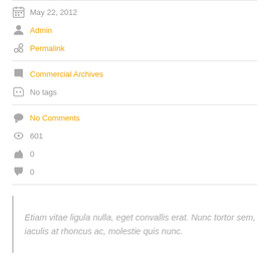May 22, 2012
Admin
Permalink
Commercial Archives
No tags
No Comments
601
0
0
Etiam vitae ligula nulla, eget convallis erat. Nunc tortor sem, iaculis at rhoncus ac, molestie quis nunc.
Donec dictum libero vel orci malesuada mattis. Suspendisse libero ante, varius ac laoreet vel, blandit eget lacus. Vestibulum